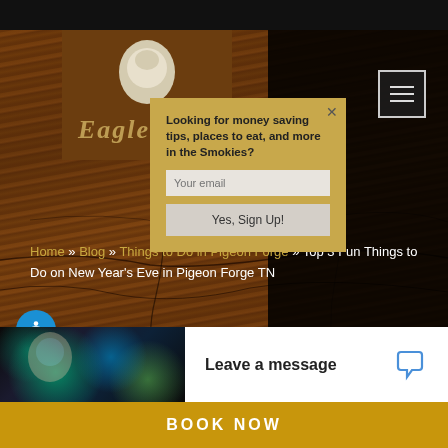[Figure (screenshot): Website header with eagle logo on brown/wood background, black area on right, hamburger menu icon]
[Figure (screenshot): Email signup popup with gold/tan background: 'Looking for money saving tips, places to eat, and more in the Smokies?' with email input and 'Yes, Sign Up!' button]
Home » Blog » Things to Do in Pigeon Forge » Top 3 Fun Things to Do on New Year's Eve in Pigeon Forge TN
[Figure (photo): Dark image with teal/green bokeh lights in bottom left corner]
Leave a message
BOOK NOW